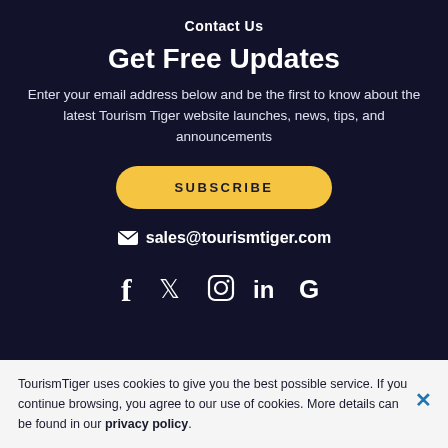Contact Us
Get Free Updates
Enter your email address below and be the first to know about the latest Tourism Tiger website launches, news, tips, and announcements
[Figure (other): Yellow SUBSCRIBE button with rounded corners]
✉ sales@tourismtiger.com
[Figure (other): Social media icons: Facebook, Twitter, Instagram, LinkedIn, Google]
TourismTiger uses cookies to give you the best possible service. If you continue browsing, you agree to our use of cookies. More details can be found in our privacy policy.